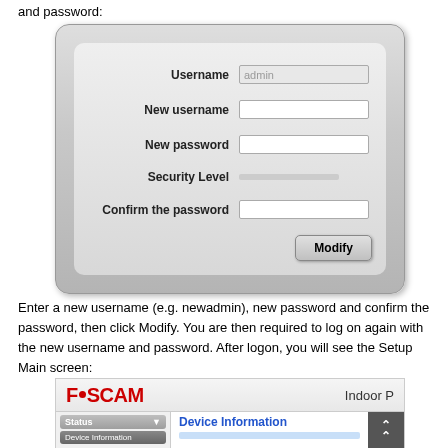and password:
[Figure (screenshot): A web form with fields: Username (filled with 'admin'), New username (empty), New password (empty), Security Level (empty/no input box), Confirm the password (empty), and a Modify button.]
Enter a new username (e.g. newadmin), new password and confirm the password, then click Modify. You are then required to log on again with the new username and password. After logon, you will see the Setup Main screen:
[Figure (screenshot): Foscam camera web interface showing the logo 'FOSCAM' with 'Indoor P' text on top bar, and below a left navigation with Status, Device Information, Device Status, Camera Status items, and a right panel showing 'Device Information' header in blue.]